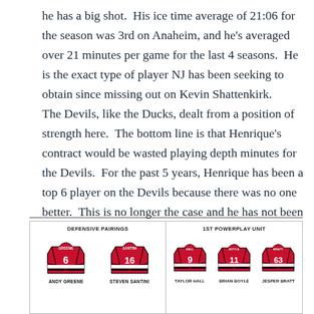he has a big shot.  His ice time average of 21:06 for the season was 3rd on Anaheim, and he's averaged over 21 minutes per game for the last 4 seasons.  He is the exact type of player NJ has been seeking to obtain since missing out on Kevin Shattenkirk. The Devils, like the Ducks, dealt from a position of strength here.  The bottom line is that Henrique's contract would be wasted playing depth minutes for the Devils.  For the past 5 years, Henrique has been a top 6 player on the Devils because there was no one better.  This is no longer the case and he has not been able to assert himself as a top 6 player in NJ this season.
[Figure (infographic): NHL roster graphic showing Defensive Pairings and 1st Powerplay Unit for the New Jersey Devils. Defensive Pairings: Andy Greene (#6) and Steven Santini (#16). 1st Powerplay Unit: Taylor Hall (#9), Brian Boyle (#11), Jesper Bratt (#63). Bottom row shows partial jersey images.]